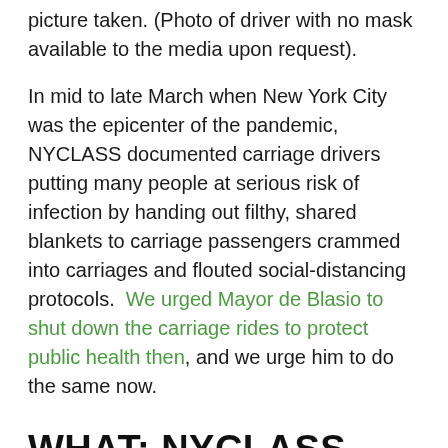picture taken. (Photo of driver with no mask available to the media upon request).
In mid to late March when New York City was the epicenter of the pandemic, NYCLASS documented carriage drivers putting many people at serious risk of infection by handing out filthy, shared blankets to carriage passengers crammed into carriages and flouted social-distancing protocols. We urged Mayor de Blasio to shut down the carriage rides to protect public health then, and we urge him to do the same now.
WHAT: NYCLASS AND PETA PROTEST OF HORSE-DRAWN CARRIAGE RIDES,